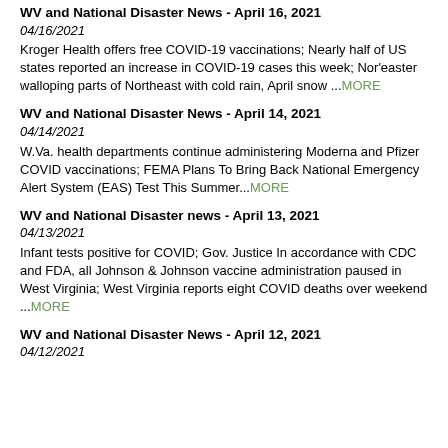WV and National Disaster News - April 16, 2021
04/16/2021
Kroger Health offers free COVID-19 vaccinations; Nearly half of US states reported an increase in COVID-19 cases this week; Nor'easter walloping parts of Northeast with cold rain, April snow ...MORE
WV and National Disaster News - April 14, 2021
04/14/2021
W.Va. health departments continue administering Moderna and Pfizer COVID vaccinations; FEMA Plans To Bring Back National Emergency Alert System (EAS) Test This Summer...MORE
WV and National Disaster news - April 13, 2021
04/13/2021
Infant tests positive for COVID; Gov. Justice In accordance with CDC and FDA, all Johnson & Johnson vaccine administration paused in West Virginia; West Virginia reports eight COVID deaths over weekend ...MORE
WV and National Disaster News - April 12, 2021
04/12/2021